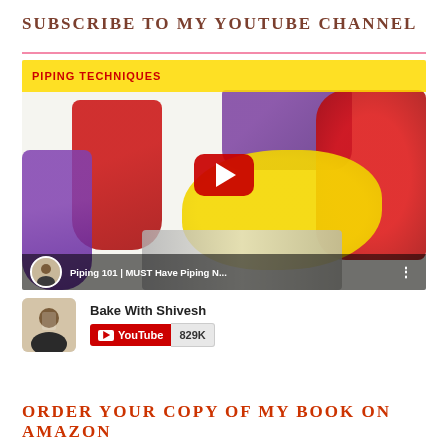SUBSCRIBE TO MY YOUTUBE CHANNEL
[Figure (screenshot): YouTube video thumbnail for 'Piping 101 | MUST Have Piping N...' by Bake With Shivesh, showing colorful frosting techniques with red, yellow, and purple piping bags and a red play button overlay. Below the video is the channel info showing 'Bake With Shivesh' with a YouTube subscribe button displaying 829K subscribers.]
ORDER YOUR COPY OF MY BOOK ON AMAZON